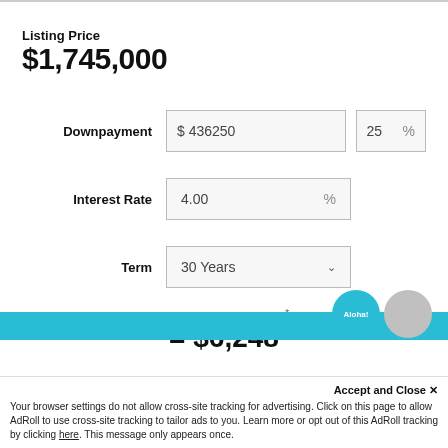Listing Price
$1,745,000
Downpayment  $ 436250  |  25  %
Interest Rate  4.00  %
Term  30 Years
Est. Monthly Payment*
= $6,248
Accept and Close ✕
Your browser settings do not allow cross-site tracking for advertising. Click on this page to allow AdRoll to use cross-site tracking to tailor ads to you. Learn more or opt out of this AdRoll tracking by clicking here. This message only appears once.